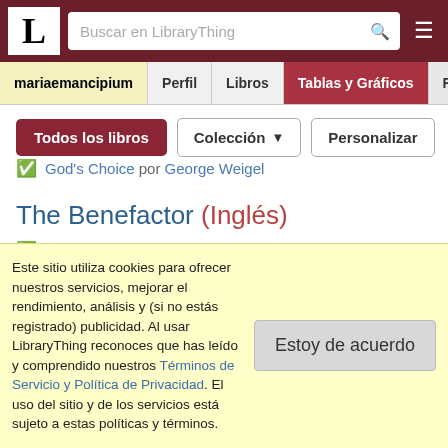LibraryThing - Buscar en LibraryThing
mariaemancipium | Perfil | Libros | Tablas y Gráficos | Rese...
Todos los libros | Colección | Personalizar
God's Choice por George Weigel
The Benefactor (Inglés)
We (Modern Library Classics) por Yevgeny Zamyatin
Bernadette (Inglés)
Este sitio utiliza cookies para ofrecer nuestros servicios, mejorar el rendimiento, análisis y (si no estás registrado) publicidad. Al usar LibraryThing reconoces que has leído y comprendido nuestros Términos de Servicio y Política de Privacidad. El uso del sitio y de los servicios está sujeto a estas políticas y términos.